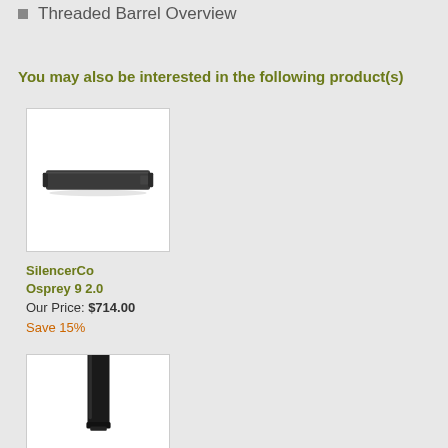Threaded Barrel Overview
You may also be interested in the following product(s)
[Figure (photo): Photo of SilencerCo Osprey 9 2.0 suppressor — rectangular black suppressor on white background]
SilencerCo Osprey 9 2.0
Our Price: $714.00
Save 15%
[Figure (photo): Photo of a cylindrical black suppressor/silencer on white background, partially cropped]